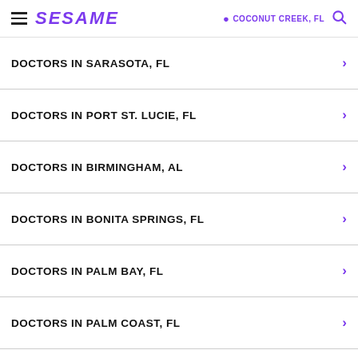SESAME | COCONUT CREEK, FL
DOCTORS IN SARASOTA, FL
DOCTORS IN PORT ST. LUCIE, FL
DOCTORS IN BIRMINGHAM, AL
DOCTORS IN BONITA SPRINGS, FL
DOCTORS IN PALM BAY, FL
DOCTORS IN PALM COAST, FL